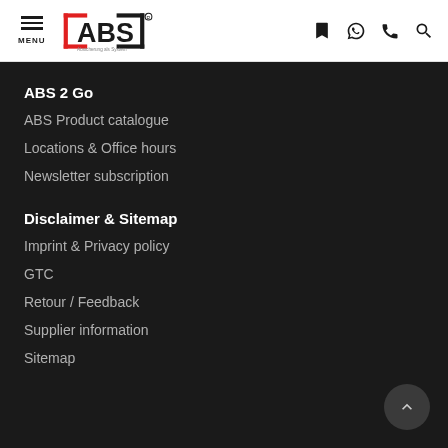MENU | ABS logo | bookmark, whatsapp, phone, search icons
ABS 2 Go
ABS Product catalogue
Locations & Office hours
Newsletter subscription
Disclaimer & Sitemap
Imprint & Privacy policy
GTC
Retour / Feedback
Supplier information
Sitemap